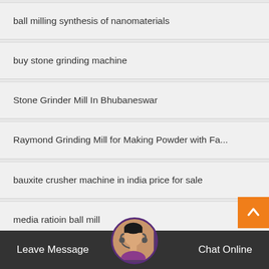ball milling synthesis of nanomaterials
buy stone grinding machine
Stone Grinder Mill In Bhubaneswar
Raymond Grinding Mill for Making Powder with Fa...
bauxite crusher machine in india price for sale
media ratioin ball mill
www mobile crusher manufacture in gujrat
Leave Message   Chat Online